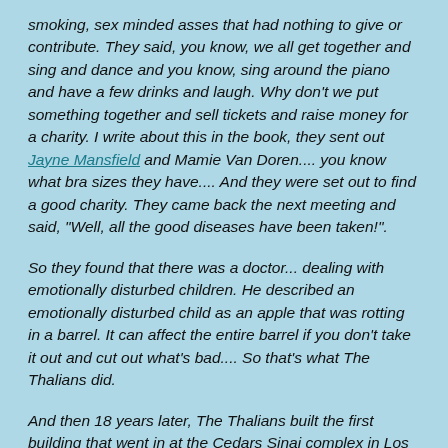smoking, sex minded asses that had nothing to give or contribute. They said, you know, we all get together and sing and dance and you know, sing around the piano and have a few drinks and laugh. Why don't we put something together and sell tickets and raise money for a charity. I write about this in the book, they sent out Jayne Mansfield and Mamie Van Doren.... you know what bra sizes they have.... And they were set out to find a good charity. They came back the next meeting and said, "Well, all the good diseases have been taken!".
So they found that there was a doctor... dealing with emotionally disturbed children. He described an emotionally disturbed child as an apple that was rotting in a barrel. It can affect the entire barrel if you don't take it out and cut out what's bad.... So that's what The Thalians did.
And then 18 years later, The Thalians built the first building that went in at the Cedars Sinai complex in Los Angeles. I'm so proud of the fact that we were able to do that, this group of